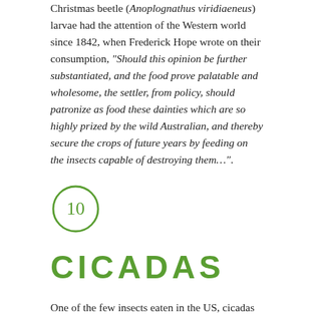Christmas beetle (Anoplognathus viridiaeneus) larvae had the attention of the Western world since 1842, when Frederick Hope wrote on their consumption, "Should this opinion be further substantiated, and the food prove palatable and wholesome, the settler, from policy, should patronize as food these dainties which are so highly prized by the wild Australian, and thereby secure the crops of future years by feeding on the insects capable of destroying them...".
[Figure (other): Green circle with number 10 inside, decorative chapter or section marker]
CICADAS
One of the few insects eaten in the US, cicadas (Magicicada spp.) are said to be most tender and tasty